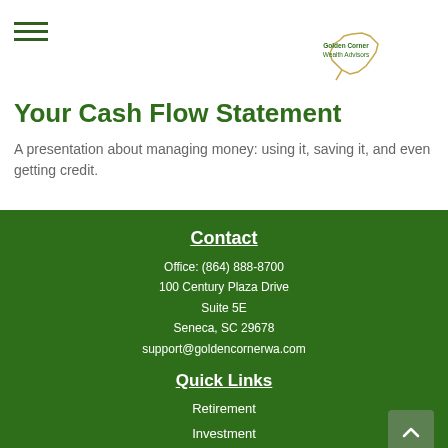[Figure (logo): Golden Corner Wealth Advisors logo — outline of South Carolina state with company name text]
Your Cash Flow Statement
A presentation about managing money: using it, saving it, and even getting credit.
Contact
Office: (864) 888-8700
100 Century Plaza Drive
Suite 5E
Seneca, SC 29678
support@goldencornerwa.com
Quick Links
Retirement
Investment
Estate